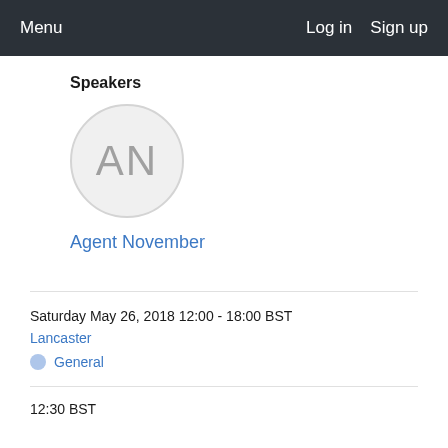Menu   Log in   Sign up
Speakers
[Figure (illustration): Circular avatar placeholder with initials AN in gray on light gray background]
Agent November
Saturday May 26, 2018 12:00 - 18:00 BST
Lancaster
General
12:30 BST